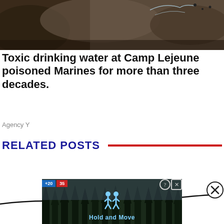[Figure (photo): Partial view of rocky terrain with water and a dark background, top portion of news article hero image]
Toxic drinking water at Camp Lejeune poisoned Marines for more than three decades.
Agency Y
RELATED POSTS
[Figure (screenshot): Advertisement overlay showing a mobile game ad for 'Hold and Move' with score display and player icons on dark background with trees in background]